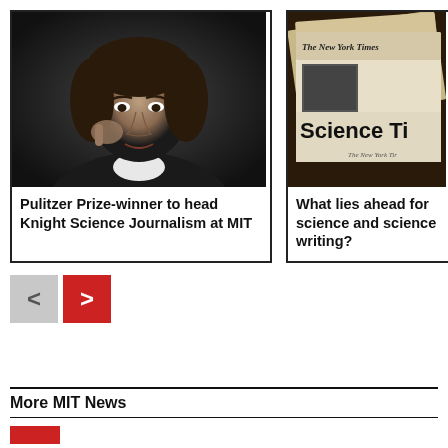[Figure (photo): Black and white portrait photograph of a woman with short dark hair, hand near face, dark background.]
Pulitzer Prize-winner to head Knight Science Journalism at MIT
[Figure (photo): Color photograph of stacked newspapers including New York Times Science Times section.]
What lies ahead for science and science writing?
More MIT News